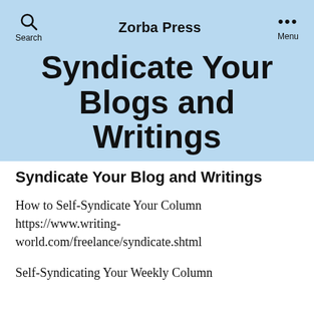Zorba Press
Syndicate Your Blogs and Writings
Syndicate Your Blog and Writings
How to Self-Syndicate Your Column https://www.writing-world.com/freelance/syndicate.shtml
Self-Syndicating Your Weekly Column